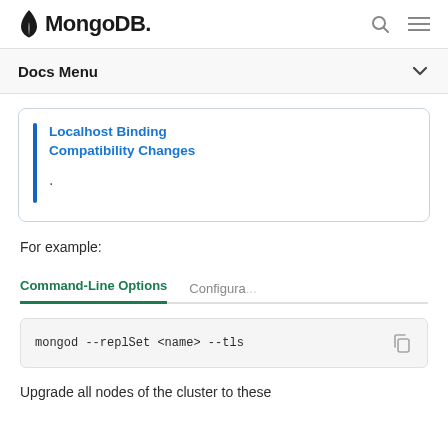MongoDB
Docs Menu
Localhost Binding Compatibility Changes
.
For example:
Command-Line Options   Configura...
mongod --replSet <name> --tls
Upgrade all nodes of the cluster to these